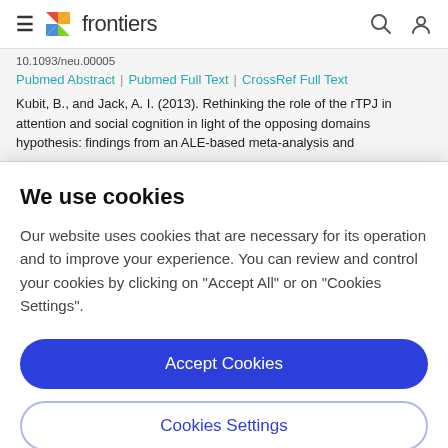frontiers
Pubmed Abstract | Pubmed Full Text | CrossRef Full Text
Kubit, B., and Jack, A. I. (2013). Rethinking the role of the rTPJ in attention and social cognition in light of the opposing domains hypothesis: findings from an ALE-based meta-analysis and
We use cookies
Our website uses cookies that are necessary for its operation and to improve your experience. You can review and control your cookies by clicking on "Accept All" or on "Cookies Settings".
Accept Cookies
Cookies Settings